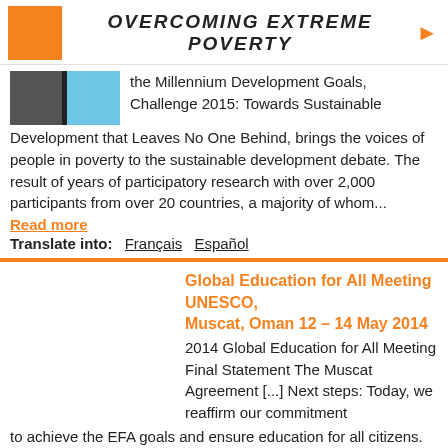OVERCOMING EXTREME POVERTY
[Figure (photo): Thumbnail image with dark left half and blue right half]
the Millennium Development Goals, Challenge 2015: Towards Sustainable Development that Leaves No One Behind, brings the voices of people in poverty to the sustainable development debate. The result of years of participatory research with over 2,000 participants from over 20 countries, a majority of whom...
Read more
Translate into: Français Español
Global Education for All Meeting UNESCO, Muscat, Oman 12 – 14 May 2014
2014 Global Education for All Meeting Final Statement The Muscat Agreement [...] Next steps: Today, we reaffirm our commitment to achieve the EFA goals and ensure education for all citizens. We commit to promoting, advocating for and supporting the development of a strong future education agenda, and urge all UNESCO Member States and... Read more
Translate into: Français Español
The next section header (partially visible)